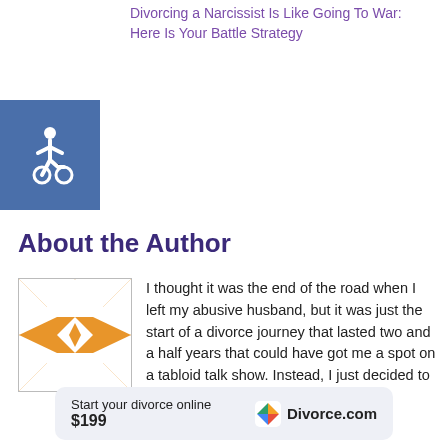Divorcing a Narcissist Is Like Going To War: Here Is Your Battle Strategy
[Figure (illustration): Blue square with white wheelchair accessibility icon]
About the Author
[Figure (illustration): Square decorative quilt-pattern avatar image in orange and white]
I thought it was the end of the road when I left my abusive husband, but it was just the start of a divorce journey that lasted two and a half years that could have got me a spot on a tabloid talk show. Instead, I just decided to talk about it here.
Start your divorce online $199 Divorce.com